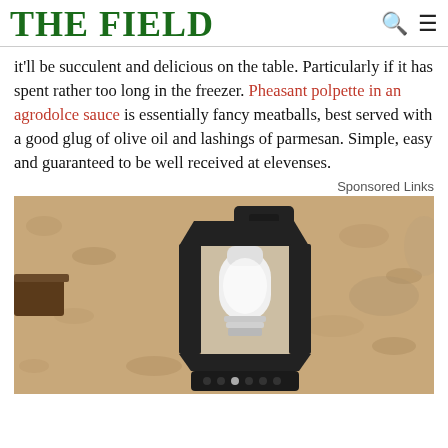THE FIELD
it'll be succulent and delicious on the table. Particularly if it has spent rather too long in the freezer. Pheasant polpette in an agrodolce sauce is essentially fancy meatballs, best served with a good glug of olive oil and lashings of parmesan. Simple, easy and guaranteed to be well received at elevenses.
Sponsored Links
[Figure (photo): Outdoor wall-mounted lantern light fixture with a white LED bulb installed, mounted on a textured stone/stucco wall. Black metal lantern frame with glass panels.]